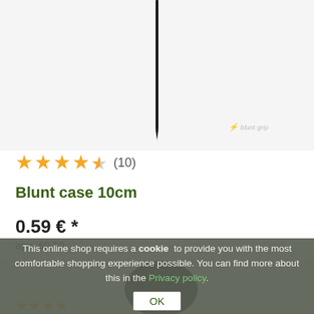[Figure (photo): Product photo of blunt case 10cm needle/spike on white/light gray background with brand logo watermark]
★★★★½ (10)
Blunt case 10cm
0.59 € *
apx. £0.50
[Figure (photo): Product photo of a black oval/round blunt case accessory on light gray background with brand watermark]
This online shop requires a cookie to provide you with the most comfortable shopping experience possible. You can find more about this in the Privacy policy.